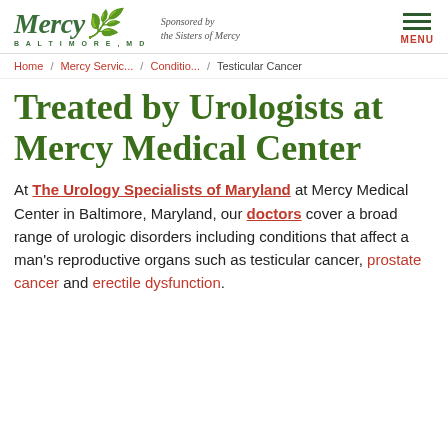Mercy Baltimore MD — Sponsored by the Sisters of Mercy — MENU
Home / Mercy Servic... / Conditio... / Testicular Cancer
Treated by Urologists at Mercy Medical Center
At The Urology Specialists of Maryland at Mercy Medical Center in Baltimore, Maryland, our doctors cover a broad range of urologic disorders including conditions that affect a man's reproductive organs such as testicular cancer, prostate cancer and erectile dysfunction.